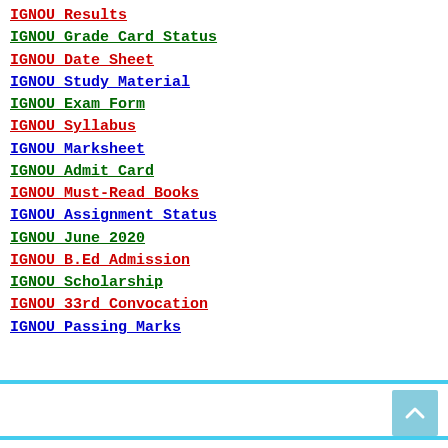IGNOU Results
IGNOU Grade Card Status
IGNOU Date Sheet
IGNOU Study Material
IGNOU Exam Form
IGNOU Syllabus
IGNOU Marksheet
IGNOU Admit Card
IGNOU Must-Read Books
IGNOU Assignment Status
IGNOU June 2020
IGNOU B.Ed Admission
IGNOU Scholarship
IGNOU 33rd Convocation
IGNOU Passing Marks